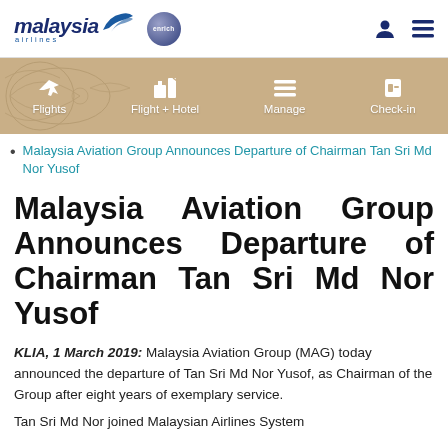Malaysia Airlines | Enrich
[Figure (logo): Malaysia Airlines logo with stylized text and wing icon, plus Enrich circular logo, user icon, and menu icon]
[Figure (infographic): Navigation bar with tan/gold background and decorative floral art, containing four navigation items: Flights, Flight + Hotel, Manage, Check-in with corresponding icons]
Malaysia Aviation Group Announces Departure of Chairman Tan Sri Md Nor Yusof
Malaysia Aviation Group Announces Departure of Chairman Tan Sri Md Nor Yusof
KLIA, 1 March 2019: Malaysia Aviation Group (MAG) today announced the departure of Tan Sri Md Nor Yusof, as Chairman of the Group after eight years of exemplary service.
Tan Sri Md Nor joined Malaysian Airlines System